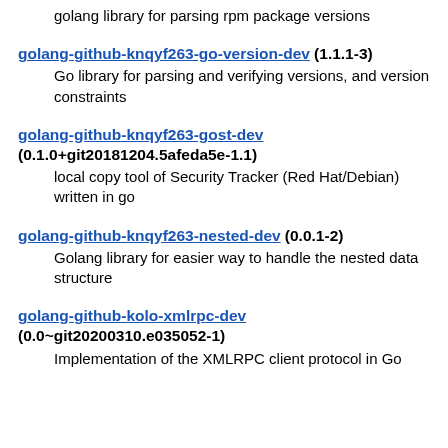golang library for parsing rpm package versions
golang-github-knqyf263-go-version-dev (1.1.1-3)
Go library for parsing and verifying versions, and version constraints
golang-github-knqyf263-gost-dev (0.1.0+git20181204.5afeda5e-1.1)
local copy tool of Security Tracker (Red Hat/Debian) written in go
golang-github-knqyf263-nested-dev (0.0.1-2)
Golang library for easier way to handle the nested data structure
golang-github-kolo-xmlrpc-dev (0.0~git20200310.e035052-1)
Implementation of the XMLRPC client protocol in Go